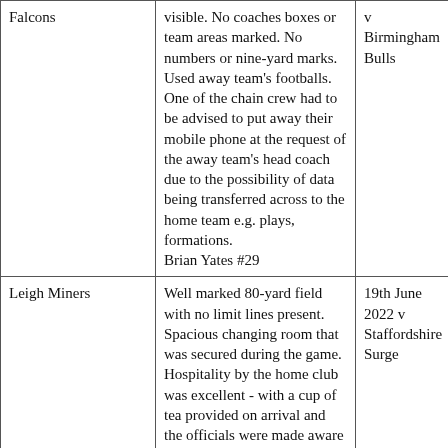| Team | Notes | Match |
| --- | --- | --- |
| Falcons | visible. No coaches boxes or team areas marked. No numbers or nine-yard marks. Used away team's footballs. One of the chain crew had to be advised to put away their mobile phone at the request of the away team's head coach due to the possibility of data being transferred across to the home team e.g. plays, formations.
Brian Yates #29 | v Birmingham Bulls |
| Leigh Miners | Well marked 80-yard field with no limit lines present. Spacious changing room that was secured during the game. Hospitality by the home club was excellent - with a cup of tea provided on arrival and the officials were made aware there would be food provided after the game (as | 19th June 2022 v Staffordshire Surge |